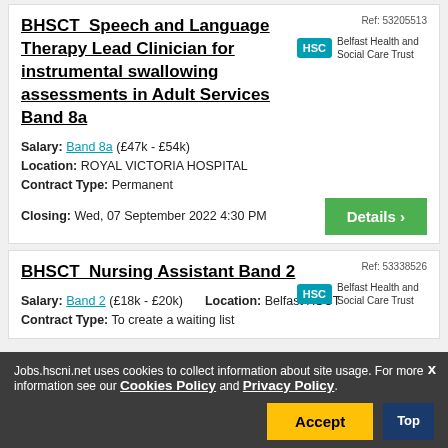BHSCT_Speech and Language Therapy Lead Clinician for instrumental swallowing assessments in Adult Services Band 8a
Ref: 53205513
[Figure (logo): HSC Belfast Health and Social Care Trust logo]
Salary: Band 8a (£47k - £54k)
Location: ROYAL VICTORIA HOSPITAL
Contract Type: Permanent
Closing: Wed, 07 September 2022 4:30 PM
BHSCT_Nursing Assistant Band 2
Ref: 53338526
[Figure (logo): HSC Belfast Health and Social Care Trust logo]
Salary: Band 2 (£18k - £20k)   Location: Belfast HSCT
Contract Type: To create a waiting list
Jobs.hscni.net uses cookies to collect information about site usage. For more information see our Cookies Policy and Privacy Policy.